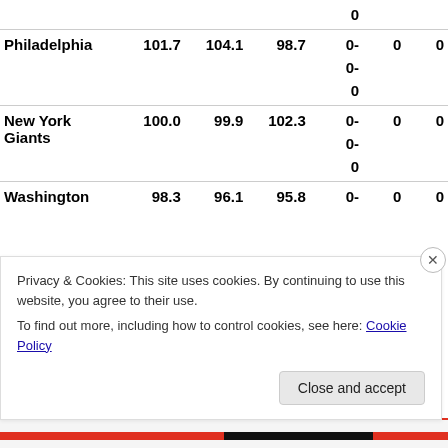| Team | Col1 | Col2 | Col3 | Record | W | L |
| --- | --- | --- | --- | --- | --- | --- |
|  |  |  |  | 0 |  |  |
| Philadelphia | 101.7 | 104.1 | 98.7 | 0-
0-
0 | 0 | 0 |
| New York Giants | 100.0 | 99.9 | 102.3 | 0-
0-
0 | 0 | 0 |
| Washington | 98.3 | 96.1 | 95.8 | 0- | 0 | 0 |
Privacy & Cookies: This site uses cookies. By continuing to use this website, you agree to their use.
To find out more, including how to control cookies, see here: Cookie Policy
Close and accept